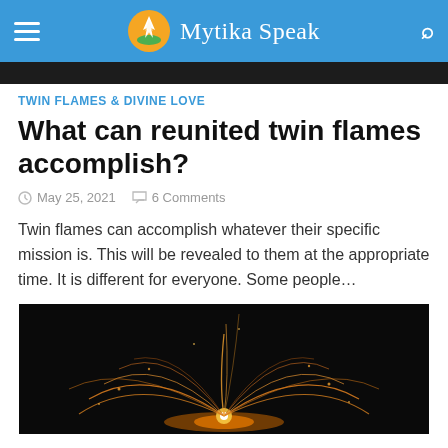Mytika Speak
[Figure (photo): Dark image strip at the top of the article]
TWIN FLAMES & DIVINE LOVE
What can reunited twin flames accomplish?
May 25, 2021   6 Comments
Twin flames can accomplish whatever their specific mission is. This will be revealed to them at the appropriate time. It is different for everyone. Some people…
[Figure (photo): Night photograph of spinning steel wool fire with sparks flying in arc patterns against a dark sky]